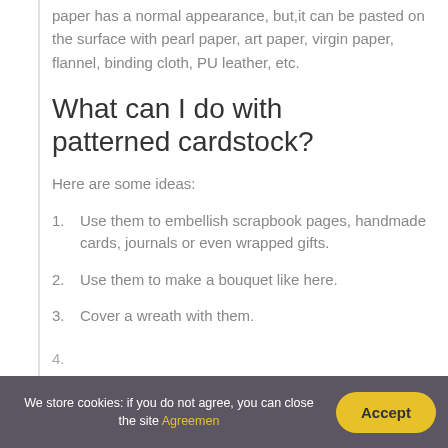paper has a normal appearance, but,it can be pasted on the surface with pearl paper, art paper, virgin paper, flannel, binding cloth, PU leather, etc.
What can I do with patterned cardstock?
Here are some ideas:
1. Use them to embellish scrapbook pages, handmade cards, journals or even wrapped gifts.
2. Use them to make a bouquet like here.
3. Cover a wreath with them.
We store cookies: if you do not agree, you can close the site Agreemen   Accept